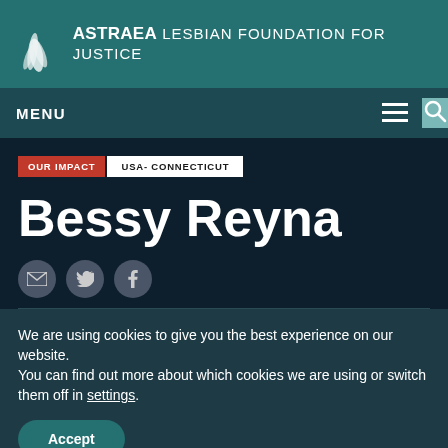ASTRAEA LESBIAN FOUNDATION FOR JUSTICE
MENU
OUR IMPACT  USA- CONNECTICUT
Bessy Reyna
[Figure (infographic): Social share icons: email, Twitter, Facebook]
We are using cookies to give you the best experience on our website.
You can find out more about which cookies we are using or switch them off in settings.
Accept